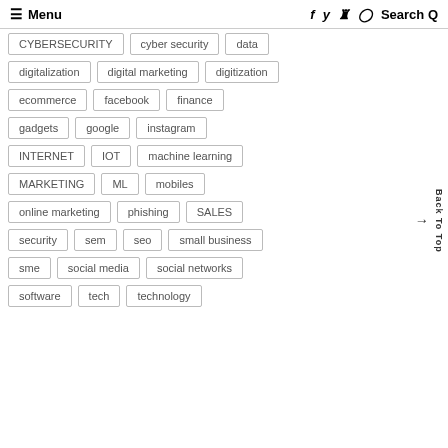≡ Menu   f  t  p  ⊙  Search Q
CYBERSECURITY
cyber security
data
digitalization
digital marketing
digitization
ecommerce
facebook
finance
gadgets
google
instagram
INTERNET
IOT
machine learning
MARKETING
ML
mobiles
online marketing
phishing
SALES
security
sem
seo
small business
sme
social media
social networks
software
tech
technology